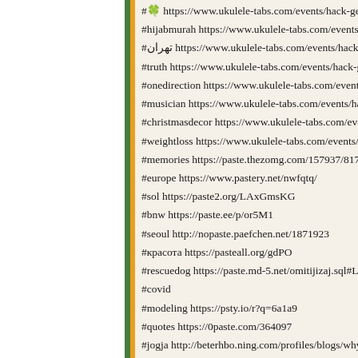#🍀 https://www.ukulele-tabs.com/events/hack-generator-2022-apk-mod-
#hijabmurah https://www.ukulele-tabs.com/events/hack-generator-2022-a
#تهران https://www.ukulele-tabs.com/events/hack-generator-2022-apk-m
#truth https://www.ukulele-tabs.com/events/hack-generator-2022-apk-mo
#onedirection https://www.ukulele-tabs.com/events/hack-generator-2022-
#musician https://www.ukulele-tabs.com/events/hack-generator-2022-apk
#christmasdecor https://www.ukulele-tabs.com/events/hack-generator-202
#weightloss https://www.ukulele-tabs.com/events/hack-generator-2022-ap
#memories https://paste.thezomg.com/157937/81749571/
#europe https://www.pastery.net/nwfqtq/
#sol https://paste2.org/LAxGmsKG
#bnw https://paste.ee/p/or5M1
#seoul http://nopaste.paefchen.net/1871923
#красота https://pasteall.org/gdPO
#rescuedog https://paste.md-5.net/omitijizaj.sql#L1
#covid
#modeling https://psty.io/r?q=6a1a9
#quotes https://0paste.com/364097
#jogja http://beterhbo.ning.com/profiles/blogs/why-most-ios-fail-1